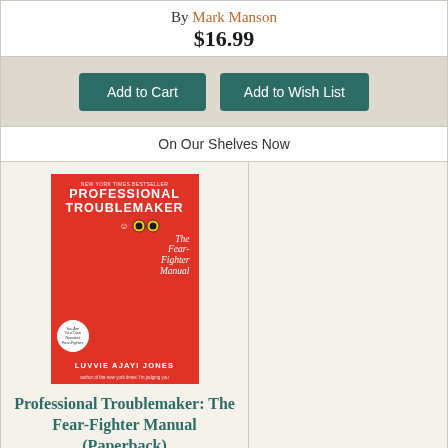By Mark Manson
$16.99
Add to Cart
Add to Wish List
On Our Shelves Now
[Figure (photo): Book cover of Professional Troublemaker: The Fear-Fighter Manual by Luvvie Ajayi Jones. Red cover with illustrated face wearing sunglasses and script title text.]
Professional Troublemaker: The Fear-Fighter Manual (Paperback)
By Luvvie Ajayi Jones
$18.00